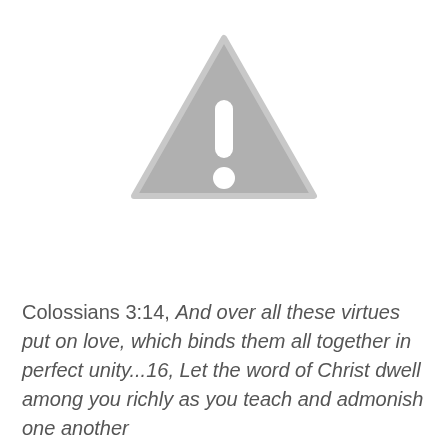[Figure (illustration): A grey warning/caution triangle icon with an exclamation mark inside, centered at the top of the page.]
Colossians 3:14, And over all these virtues put on love, which binds them all together in perfect unity...16, Let the word of Christ dwell among you richly as you teach and admonish one another